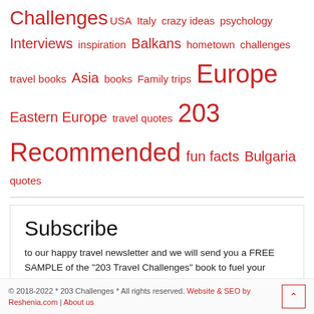Challenges USA Italy crazy ideas psychology Interviews inspiration Balkans hometown challenges travel books Asia books Family trips Europe Eastern Europe travel quotes 203 Recommended fun facts Bulgaria quotes
Subscribe
to our happy travel newsletter and we will send you a FREE SAMPLE of the "203 Travel Challenges" book to fuel your inspiration.
© 2018-2022 * 203 Challenges * All rights reserved. Website & SEO by Reshenia.com | About us